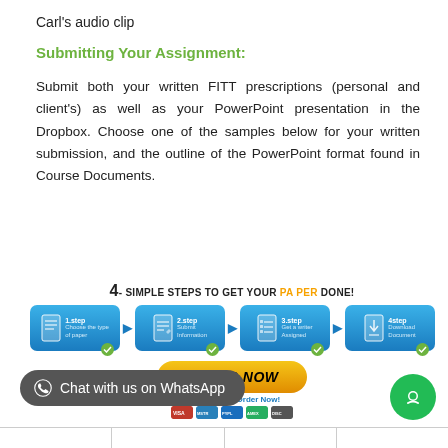Carl's audio clip
Submitting Your Assignment:
Submit both your written FITT prescriptions (personal and client's) as well as your PowerPoint presentation in the Dropbox. Choose one of the samples below for your written submission, and the outline of the PowerPoint format found in Course Documents.
[Figure (infographic): 4 simple steps to get your paper done infographic with blue step boxes labeled 1.step Choose the type of paper, 2.step Submit information, 3.step Get a writer Assigned, 4step Download Document, with an ORDER NOW button and payment icons below.]
Chat with us on WhatsApp
|  |  |  |  |